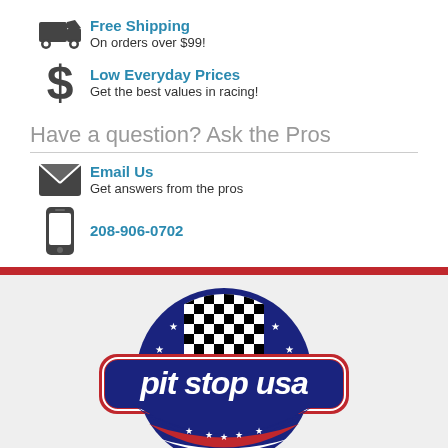Free Shipping — On orders over $99!
Low Everyday Prices — Get the best values in racing!
Have a question? Ask the Pros
Email Us — Get answers from the pros
208-906-0702
[Figure (logo): Pit Stop USA logo with checkered flag, stars, and American flag design on a red, white, and blue rounded rectangle badge]
Toll Free Order Line